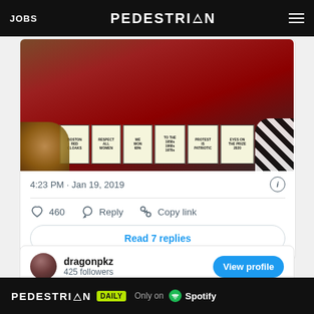JOBS | PEDESTRIAN | Menu
[Figure (photo): Protest photo showing people in red cloaks/costumes holding signs reading: BOSTON RED CLOAKS, RESPECT ALL WOMEN, WE WON 68%, TO THE 1950s 1960s 1970s, PROTEST IS PATRIOTIC, EYES ON THE PRIZE 2020]
4:23 PM · Jan 19, 2019
♡ 460   Reply   Copy link
Read 7 replies
dragonpkz
425 followers
View profile
PEDESTRIAN DAILY — Only on Spotify